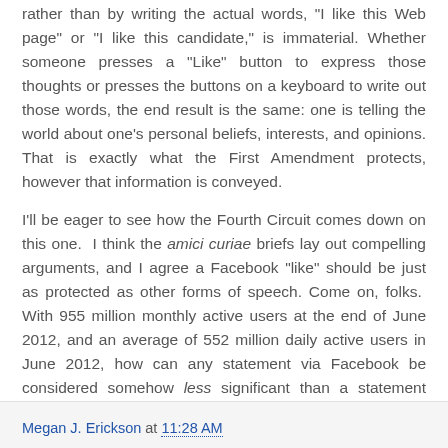rather than by writing the actual words, "I like this Web page" or "I like this candidate," is immaterial. Whether someone presses a "Like" button to express those thoughts or presses the buttons on a keyboard to write out those words, the end result is the same: one is telling the world about one's personal beliefs, interests, and opinions. That is exactly what the First Amendment protects, however that information is conveyed.
I'll be eager to see how the Fourth Circuit comes down on this one. I think the amici curiae briefs lay out compelling arguments, and I agree a Facebook "like" should be just as protected as other forms of speech. Come on, folks. With 955 million monthly active users at the end of June 2012, and an average of 552 million daily active users in June 2012, how can any statement via Facebook be considered somehow less significant than a statement made through some other medium?
Megan J. Erickson at 11:28 AM